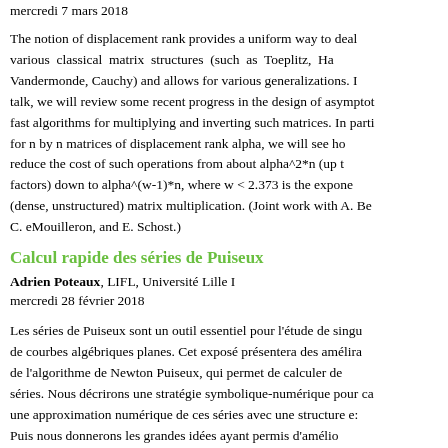mercredi 7 mars 2018
The notion of displacement rank provides a uniform way to deal with various classical matrix structures (such as Toeplitz, Ha Vandermonde, Cauchy) and allows for various generalizations. In talk, we will review some recent progress in the design of asymptot fast algorithms for multiplying and inverting such matrices. In parti for n by n matrices of displacement rank alpha, we will see ho reduce the cost of such operations from about alpha^2*n (up t factors) down to alpha^(w-1)*n, where w < 2.373 is the expone (dense, unstructured) matrix multiplication. (Joint work with A. Be C. eMouilleron, and E. Schost.)
Calcul rapide des séries de Puiseux
Adrien Poteaux, LIFL, Université Lille I
mercredi 28 février 2018
Les séries de Puiseux sont un outil essentiel pour l'étude de singu de courbes algébriques planes. Cet exposé présentera des amélioroa de l'algorithme de Newton Puiseux, qui permet de calculer de séries. Nous décrirons une stratégie symbolique-numérique pour ca une approximation numérique de ces séries avec une structure e: Puis nous donnerons les grandes idées ayant permis d'amélio complexité arithmétique de l'algorithme. Nous conclurons en mo